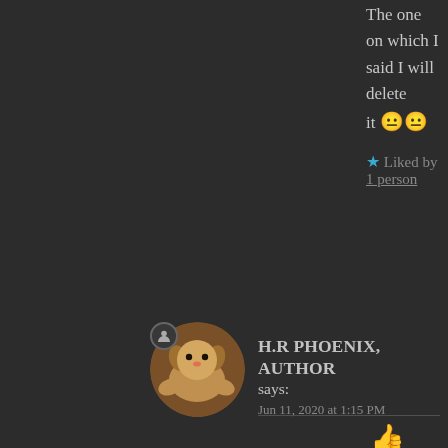The one on which I said I will delete it 😐😐
★ Liked by 1 person
H.R PHOENIX, AUTHOR says:
Jun 11, 2020 at 1:15 PM
👍
★ Like
THE BOLD GIRL says:
Jun 11, 2020 at 6:46 PM